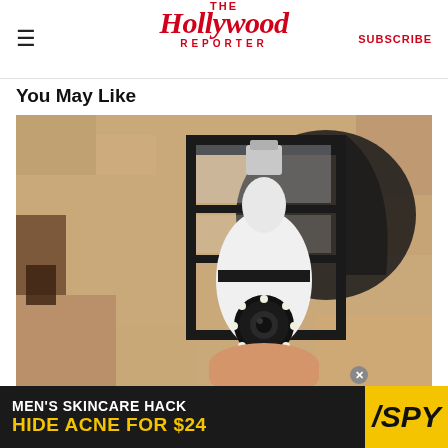The Hollywood Reporter | SUBSCRIBE
You May Like
[Figure (photo): A hand inserting a security camera disguised as a light bulb into an outdoor wall lantern fixture mounted on a stucco wall]
Homeowners Are Trading In Their Doorbell Cams For This
Camerca | Sponsored
[Figure (photo): Advertisement: MEN'S SKINCARE HACK HIDE ACNE FOR $24 - SPY]